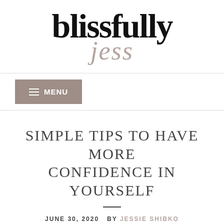[Figure (logo): Blissfully Jess blog logo — 'blissfully' in large bold serif black text, 'jess' in italic script taupe/mauve color below]
≡ MENU
SIMPLE TIPS TO HAVE MORE CONFIDENCE IN YOURSELF
JUNE 30, 2020  BY JESSIE SHIBKO